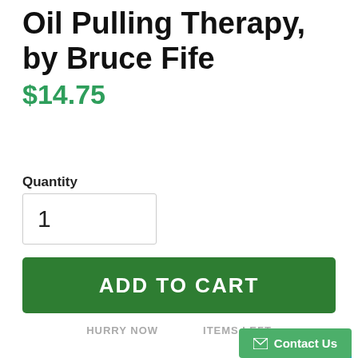Oil Pulling Therapy, by Bruce Fife
$14.75
Quantity
1
ADD TO CART
HURRY NOW    ITEMS LEFT
8 Hours 21 Minutes 41 Seconds
Limited Items Selling F...
Contact Us